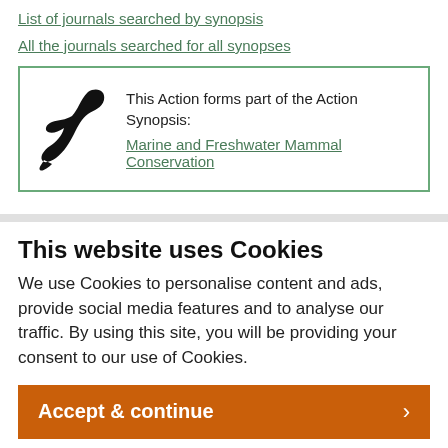List of journals searched by synopsis
All the journals searched for all synopses
[Figure (illustration): A box with a green border containing a dolphin silhouette icon and text: 'This Action forms part of the Action Synopsis:' with a green link 'Marine and Freshwater Mammal Conservation']
This website uses Cookies
We use Cookies to personalise content and ads, provide social media features and to analyse our traffic. By using this site, you will be providing your consent to our use of Cookies.
Accept & continue